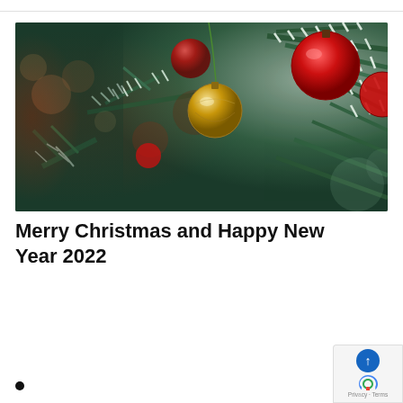[Figure (photo): Close-up photo of a decorated Christmas tree with red and gold ornament balls hanging from green pine branches with white frost-like tips. Background has warm reddish-brown bokeh lighting on the left side.]
Merry Christmas and Happy New Year 2022
•